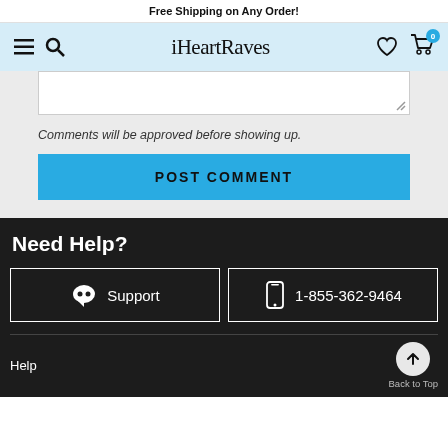Free Shipping on Any Order!
[Figure (screenshot): iHeartRaves website navigation bar with hamburger menu, search icon, logo, heart icon, and shopping cart with badge showing 0]
Comments will be approved before showing up.
POST COMMENT
Need Help?
Support
1-855-362-9464
Help   Back to Top